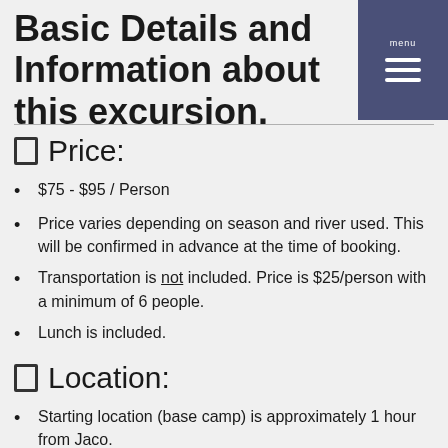Basic Details and Information about this excursion.
Price:
$75 - $95 / Person
Price varies depending on season and river used. This will be confirmed in advance at the time of booking.
Transportation is not included. Price is $25/person with a minimum of 6 people.
Lunch is included.
Location:
Starting location (base camp) is approximately 1 hour from Jaco.